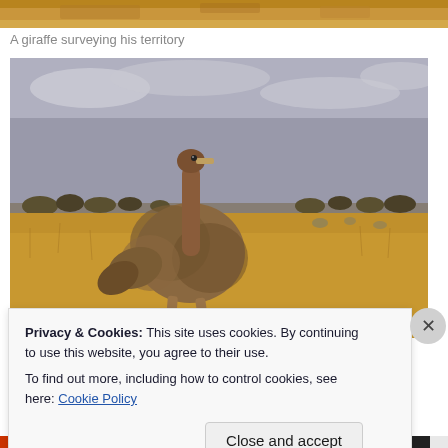[Figure (photo): Top strip showing a giraffe in savanna territory (partially cropped)]
A giraffe surveying his territory
[Figure (photo): An ostrich running across a dry golden savanna grassland with a cloudy sky and trees in the distant background]
Privacy & Cookies: This site uses cookies. By continuing to use this website, you agree to their use.
To find out more, including how to control cookies, see here: Cookie Policy
Close and accept